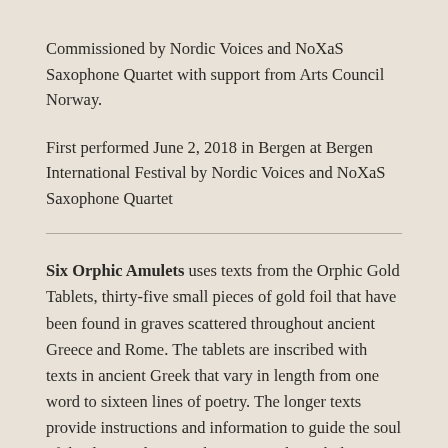Commissioned by Nordic Voices and NoXaS Saxophone Quartet with support from Arts Council Norway.
First performed June 2, 2018 in Bergen at Bergen International Festival by Nordic Voices and NoXaS Saxophone Quartet
Six Orphic Amulets uses texts from the Orphic Gold Tablets, thirty-five small pieces of gold foil that have been found in graves scattered throughout ancient Greece and Rome. The tablets are inscribed with texts in ancient Greek that vary in length from one word to sixteen lines of poetry. The longer texts provide instructions and information to guide the soul of the deceased as it makes its way through the underworld, and to ensure that it receives preferential treatment from the rulers there.
The first movement uses text from a gold tablet found in the ancient city of Pherae, Greece. It is dated to the middle of the fourth century BC. The strange word andrikonsidothyrson does